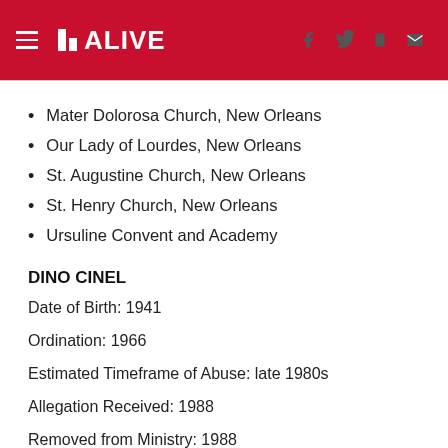11 ALIVE
Mater Dolorosa Church, New Orleans
Our Lady of Lourdes, New Orleans
St. Augustine Church, New Orleans
St. Henry Church, New Orleans
Ursuline Convent and Academy
DINO CINEL
Date of Birth: 1941
Ordination: 1966
Estimated Timeframe of Abuse: late 1980s
Allegation Received: 1988
Removed from Ministry: 1988
Date of Death: 2018